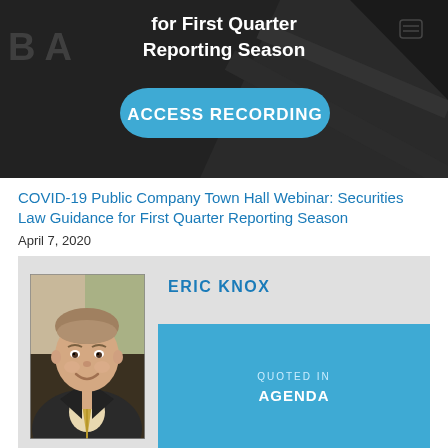[Figure (screenshot): Dark banner image with text 'for First Quarter Reporting Season' and a blue 'ACCESS RECORDING' button]
COVID-19 Public Company Town Hall Webinar: Securities Law Guidance for First Quarter Reporting Season
April 7, 2020
[Figure (infographic): Gray card with photo of Eric Knox on the left, and on the right his name 'ERIC KNOX' in blue text on gray background, and a blue section below with 'QUOTED IN' and 'AGENDA']